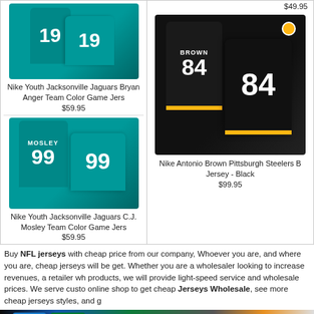[Figure (photo): Nike Youth Jacksonville Jaguars Bryan Anger Team Color Game Jersey #19 teal, two jerseys shown]
Nike Youth Jacksonville Jaguars Bryan Anger Team Color Game Jers
$59.95
[Figure (photo): Nike Youth Jacksonville Jaguars C.J. Mosley Team Color Game Jersey #99 teal, two jerseys shown]
Nike Youth Jacksonville Jaguars C.J. Mosley Team Color Game Jers
$59.95
$49.95
[Figure (photo): Nike Antonio Brown Pittsburgh Steelers #84 jersey in black with gold trim, two jerseys shown]
Nike Antonio Brown Pittsburgh Steelers B Jersey - Black
$99.95
Buy NFL jerseys with cheap price from our company, Whoever you are, and where you are, cheap jerseys will be get. Whether you are a wholesaler looking to increase revenues, a retailer who wants to sell more products, we will provide light-speed service and wholesale prices. We serve customers all over the world, online shop to get cheap Jerseys Wholesale, see more cheap jerseys styles, and g
[Figure (photo): Bottom banner showing various sports jerseys including NBA jerseys in blue (Celtics green), with adidas and NBA logos visible]